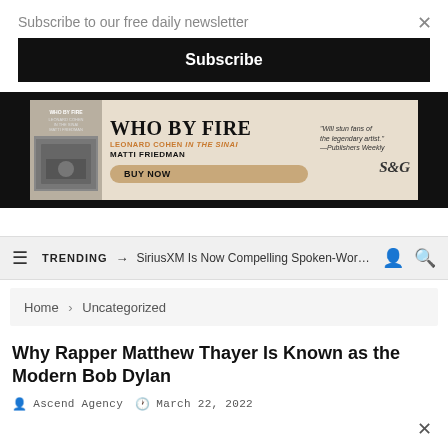Subscribe to our free daily newsletter
Subscribe
[Figure (infographic): Book advertisement for 'Who by Fire: Leonard Cohen in the Sinai' by Matti Friedman. Shows book cover on left, large title 'WHO BY FIRE' in the center, subtitle 'LEONARD COHEN IN THE SINAI' in orange, 'MATTI FRIEDMAN' below, a 'BUY NOW' button, and a quote 'Will stun fans of the legendary artist. —Publishers Weekly' on the right, with S&G logo.]
TRENDING → SiriusXM Is Now Compelling Spoken-Word Cre...
Home > Uncategorized
Why Rapper Matthew Thayer Is Known as the Modern Bob Dylan
Ascend Agency   March 22, 2022